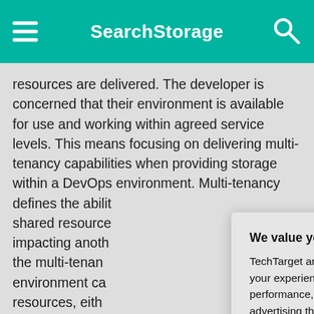SearchStorage
resources are delivered. The developer is concerned that their environment is available for use and working within agreed service levels. This means focusing on delivering multi-tenancy capabilities when providing storage within a DevOps environment. Multi-tenancy defines the abilit shared resource impacting anoth the multi-tenan environment ca resources, eith perspective. In f resources cons where the unde production.
We value your privacy.
TechTarget and its partners employ cookies to improve your experience on our site, to analyze traffic and performance, and to serve personalized content and advertising that are relevant to your professional interests. You can manage your settings at any time. Please view our Privacy Policy for more information
OK
Settings